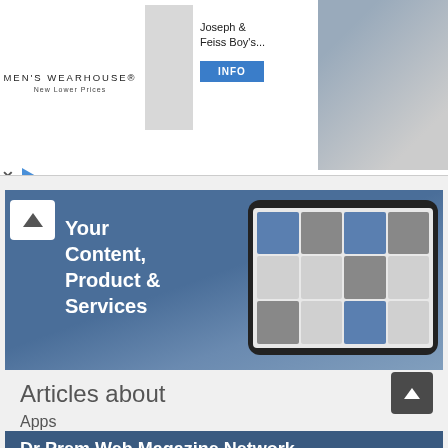[Figure (screenshot): Men's Wearhouse advertisement banner with suit photo, Joseph & Feiss Boy's product, INFO button, and couple photo on right]
[Figure (screenshot): Dr Prem Web Magazine Network advertisement showing tablet with website screenshot, text 'Your Content, Product & Services', 'Dr Prem Web Magazine Network', '50+ Web Magazines | 5 Million Readers', 'DrPrem.com/Network']
Articles about
Apps